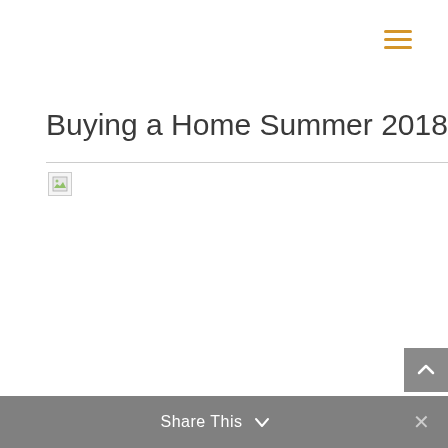☰ (hamburger menu icon)
Buying a Home Summer 2018
[Figure (other): Broken image placeholder with a small thumbnail icon and a horizontal rule below the title]
Share This ∨  ✕